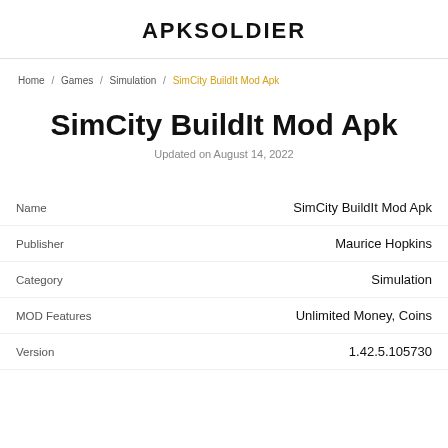APKSOLDIER
Home / Games / Simulation / SimCity BuildIt Mod Apk
SimCity BuildIt Mod Apk
Updated on August 14, 2022
|  |  |
| --- | --- |
| Name | SimCity BuildIt Mod Apk |
| Publisher | Maurice Hopkins |
| Category | Simulation |
| MOD Features | Unlimited Money, Coins |
| Version | 1.42.5.105730 |